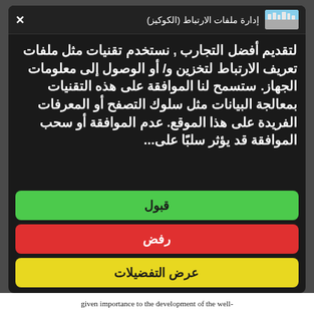[Figure (screenshot): Cookie consent modal dialog with header showing city skyline icon and title 'إدارة ملفات الارتباط (الكوكيز)', a close X button, body text in Arabic about cookie usage policy, and three buttons: Accept (green), Reject (red), Show Preferences (yellow).]
given importance to the development of the well-